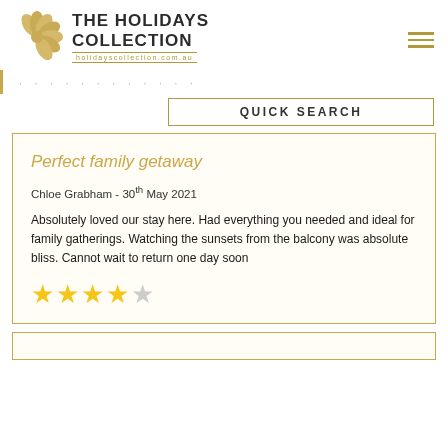[Figure (logo): The Holidays Collection logo with golden flower graphic and text 'THE HOLIDAYS COLLECTION holidayscollection.com.au']
· · · · · · · · · · · ·
QUICK SEARCH
Perfect family getaway
Chloe Grabham - 30th May 2021
Absolutely loved our stay here. Had everything you needed and ideal for family gatherings. Watching the sunsets from the balcony was absolute bliss. Cannot wait to return one day soon
★★★★☆